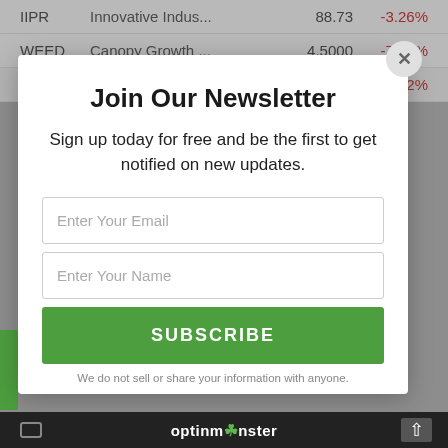| Ticker | Name | Price | Change |
| --- | --- | --- | --- |
| IIPR | Innovative Indus... | 88.73 | -3.26% |
| WEED | Canopy Growth ... | 4.5000 | -7.41% |
| ACB | Aurora Cannabi... | 1.9500 | -8.02% |
Join Our Newsletter
Sign up today for free and be the first to get notified on new updates.
Enter Your Email
Enter Your Name
SUBSCRIBE
We do not sell or share your information with anyone.